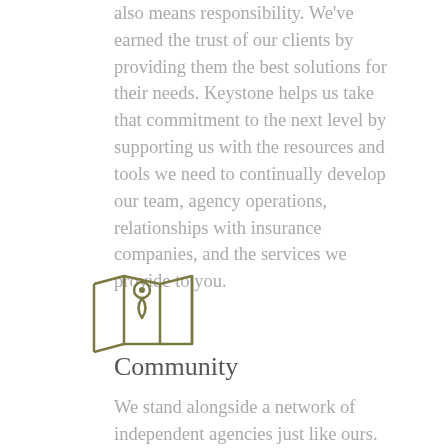also means responsibility. We've earned the trust of our clients by providing them the best solutions for their needs. Keystone helps us take that commitment to the next level by supporting us with the resources and tools we need to continually develop our team, agency operations, relationships with insurance companies, and the services we provide to you.
[Figure (illustration): A map/location pin icon drawn in olive/dark yellow-green outline style, showing a folded map with a location pin marker on top.]
Community
We stand alongside a network of independent agencies just like ours. Being able to tap the knowledge of many of our